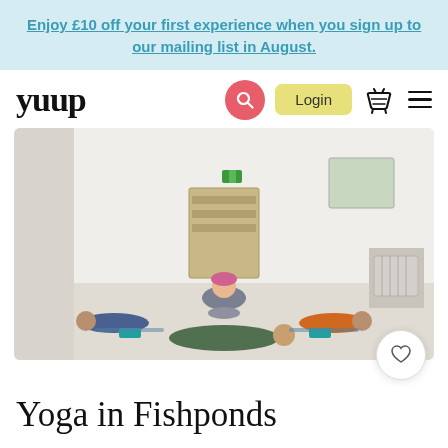Enjoy £10 off your first experience when you sign up to our mailing list in August.
[Figure (logo): yuup logo in bold serif font]
[Figure (screenshot): Yoga studio photo showing a yoga instructor helping a student lying face-down on a mat, with two other students in child's pose on either side, in a bright white studio room.]
Yoga in Fishponds